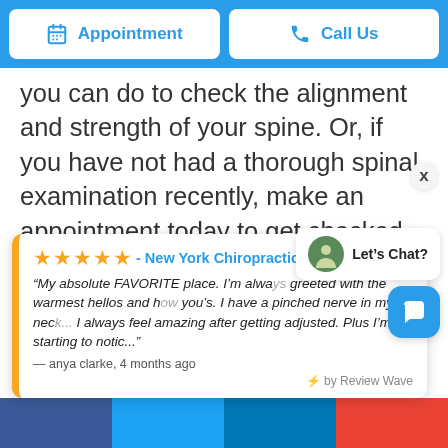Appointment   Call Us
you can do to check the alignment and strength of your spine. Or, if you have not had a thorough spinal examination recently, make an appointment today to get checked. Thomas Edison said, “The doctor of the future will give no medicine, but will interest his patients in the care of the human frame, in diet, and in the cause and prevention of
★★★★★ - New York Chiropractic Life Center
“My absolute FAVORITE place. I’m always greeted with the warmest hellos and how you’s. I have a pinched nerve in my neck... I always feel amazing after getting adjusted. Plus I’m starting to notic...”
— anya clarke, 4 months ago
⚡ by Review Wave